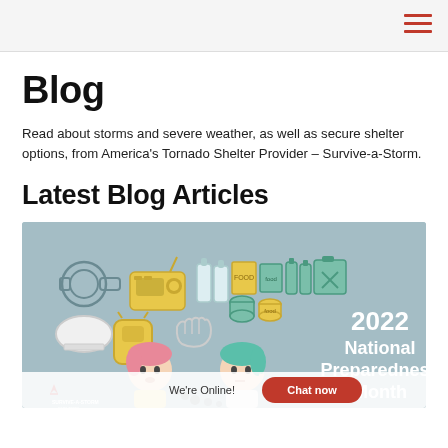Blog
Read about storms and severe weather, as well as secure shelter options, from America’s Tornado Shelter Provider – Survive-a-Storm.
Latest Blog Articles
[Figure (illustration): Illustrated banner showing emergency preparedness items (flashlight, radio, water containers, food cans, gloves, hard hat, backpack, fuel container) and two cartoon people looking worried, with text overlay reading '2022 National Preparedness Month'. Survive-a-Storm logo in bottom left. Live chat bar at bottom: 'We’re Online! Chat now'.]